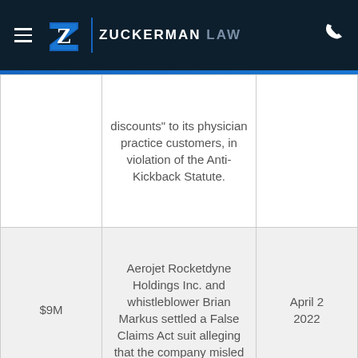Zuckerman Law
| Amount | Case Description | Date |
| --- | --- | --- |
|  | discounts" to its physician practice customers, in violation of the Anti-Kickback Statute. |  |
| $9M | Aerojet Rocketdyne Holdings Inc. and whistleblower Brian Markus settled a False Claims Act suit alleging that the company misled | April 2 2022 |